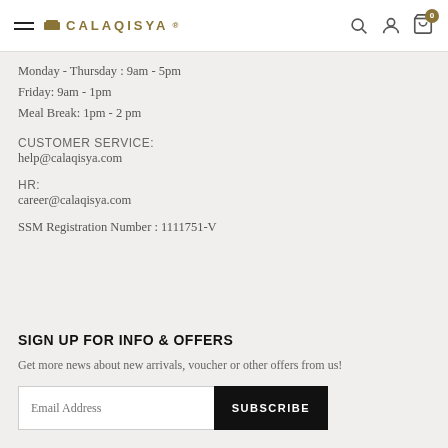CALAQISYA®
Monday - Thursday : 9am - 5pm
Friday: 9am - 1pm
Meal Break: 1pm - 2 pm
CUSTOMER SERVICE:
help@calaqisya.com
HR:
career@calaqisya.com
SSM Registration Number : 1111751-V
SIGN UP FOR INFO & OFFERS
Get more news about new arrivals, voucher or other offers from us!